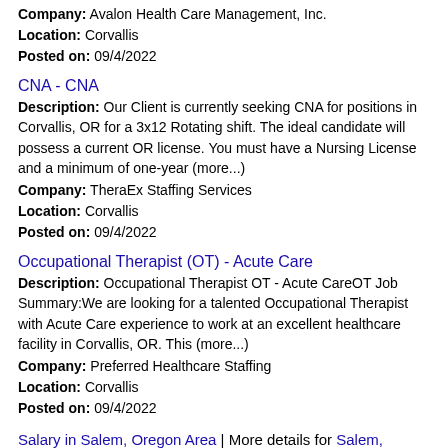Company: Avalon Health Care Management, Inc.
Location: Corvallis
Posted on: 09/4/2022
CNA - CNA
Description: Our Client is currently seeking CNA for positions in Corvallis, OR for a 3x12 Rotating shift. The ideal candidate will possess a current OR license. You must have a Nursing License and a minimum of one-year (more...)
Company: TheraEx Staffing Services
Location: Corvallis
Posted on: 09/4/2022
Occupational Therapist (OT) - Acute Care
Description: Occupational Therapist OT - Acute CareOT Job Summary:We are looking for a talented Occupational Therapist with Acute Care experience to work at an excellent healthcare facility in Corvallis, OR. This (more...)
Company: Preferred Healthcare Staffing
Location: Corvallis
Posted on: 09/4/2022
Salary in Salem, Oregon Area | More details for Salem, Oregon Jobs |Salary